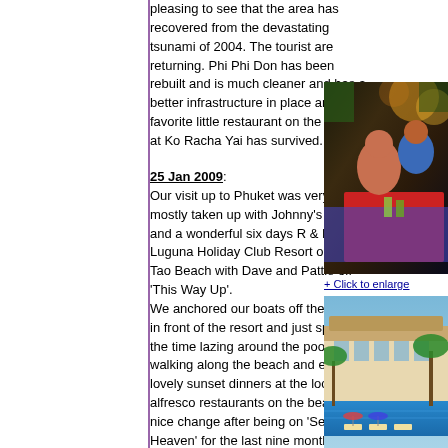pleasing to see that the area has recovered from the devastating tsunami of 2004. The tourist are returning. Phi Phi Don has been rebuilt and is much cleaner and has a better infrastructure in place and our favorite little restaurant on the rocks at Ko Racha Yai has survived.
25 Jan 2009: Our visit up to Phuket was very short mostly taken up with Johnny's visit and a wonderful six days R & R at Luguna Holiday Club Resort on Bang Tao Beach with Dave and Pattie off 'This Way Up'. We anchored our boats off the beach in front of the resort and just spent the time lazing around the pool, walking along the beach and enjoying lovely sunset dinners at the local alfresco restaurants on the beach. A nice change after being on 'Seventh Heaven' for the last nine months. Photos: Alfresco dinning on Bang Tao Beach with Pattie, Dave and Johnny. Luguna Holiday Club Resort
[Figure (photo): Photo of people dining alfresco at night, Bang Tao Beach restaurant with warm lighting]
+ Click to enlarge
[Figure (photo): Photo of Luguna Holiday Club Resort showing pool area and buildings with tropical vegetation]